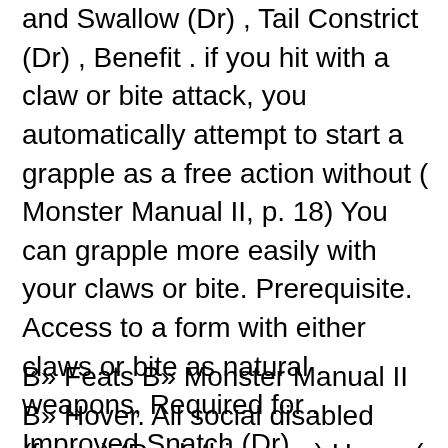and Swallow (Dr) , Tail Constrict (Dr) , Benefit . if you hit with a claw or bite attack, you automatically attempt to start a grapple as a free action without ( Monster Manual II, p. 18) You can grapple more easily with your claws or bite. Prerequisite. Access to a form with either claws or bite as natural weapons, Required for . Improved Snatch (Dr) , Multisnatch (Dr) , Rend (Dr) , Snatch and Swallow (Dr) , Tail Constrict (Dr) , Benefit . if you hit with a claw or bite attack, you automatically attempt to start a grapple as a free action without
B» Feats B» Monster Manual II B» Hover. All social disabled (faster) (Rank this page) Hover ( Monster Manual II, p. 18) [Creature, General] The creature can halt its forward motion while flying.